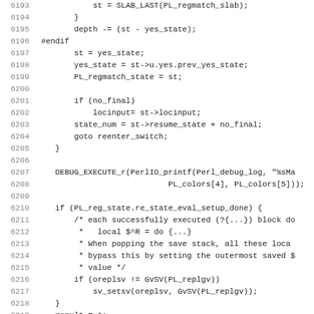Source code listing, lines 6193-6225, C/Perl regex engine code